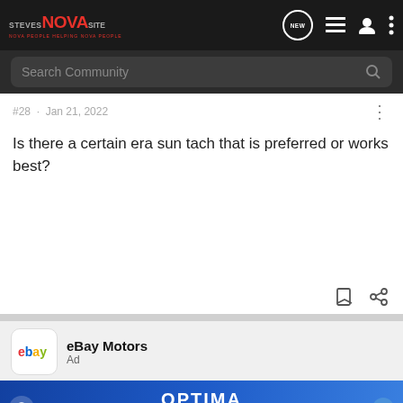StevesNovaSite — NOVA PEOPLE HELPING NOVA PEOPLE
Search Community
#28 · Jan 21, 2022
Is there a certain era sun tach that is preferred or works best?
[Figure (screenshot): eBay Motors advertisement with Optima Batteries banner]
eBay Motors
Ad
Have a p...
Get eve...